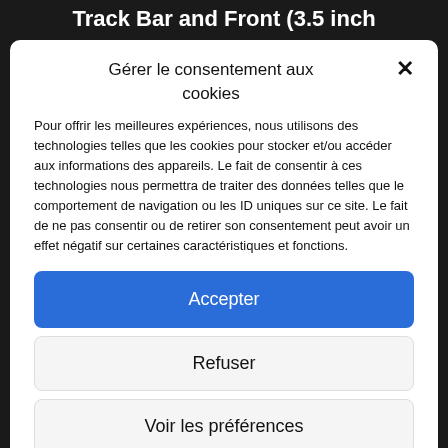Track Bar and Front (3.5 inch
Gérer le consentement aux cookies
Pour offrir les meilleures expériences, nous utilisons des technologies telles que les cookies pour stocker et/ou accéder aux informations des appareils. Le fait de consentir à ces technologies nous permettra de traiter des données telles que le comportement de navigation ou les ID uniques sur ce site. Le fait de ne pas consentir ou de retirer son consentement peut avoir un effet négatif sur certaines caractéristiques et fonctions.
Accepter
Refuser
Voir les préférences
Politique de cookies   Politique de confidentialité